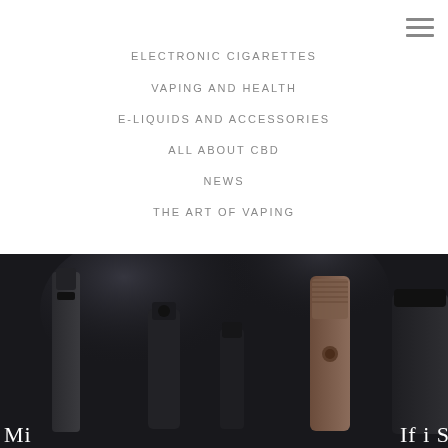ELECTRONIC CIGARETTES
VAPING AND HEALTH
E-LIQUIDS AND ACCESSORIES
ALL ABOUT CBD
NEWS
THE ART OF VAPING
[Figure (photo): Dark moody photo of electronic cigarette vaping devices/mods on a dark background with smoke/vapor visible. Partial text visible at bottom edge.]